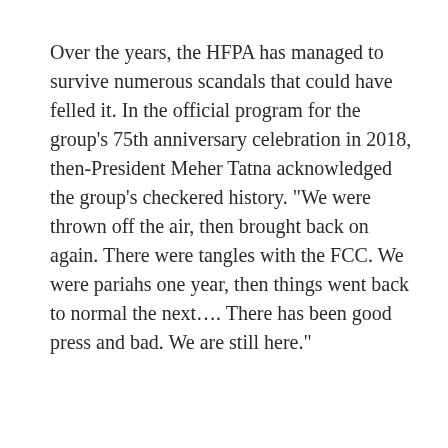Over the years, the HFPA has managed to survive numerous scandals that could have felled it. In the official program for the group's 75th anniversary celebration in 2018, then-President Meher Tatna acknowledged the group's checkered history. "We were thrown off the air, then brought back on again. There were tangles with the FCC. We were pariahs one year, then things went back to normal the next…. There has been good press and bad. We are still here."